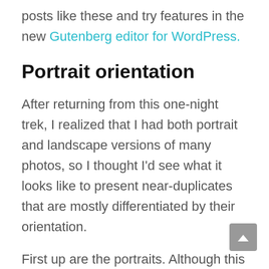posts like these and try features in the new Gutenberg editor for WordPress.
Portrait orientation
After returning from this one-night trek, I realized that I had both portrait and landscape versions of many photos, so I thought I'd see what it looks like to present near-duplicates that are mostly differentiated by their orientation.
First up are the portraits. Although this orientation can capture compelling views, if you're viewing the images on a computer